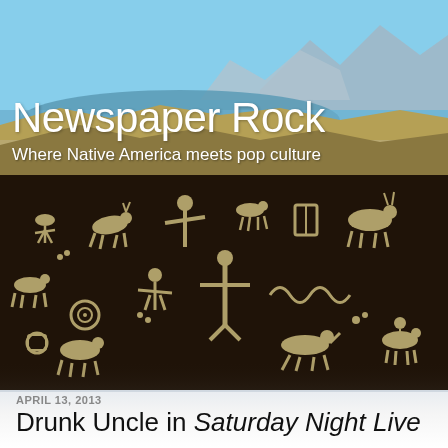[Figure (photo): Landscape photo of a desert lake with blue sky and mountains in background, serving as banner for Newspaper Rock blog]
Newspaper Rock
Where Native America meets pop culture
[Figure (photo): Close-up photo of a dark rock face covered with ancient Native American petroglyphs showing various animal and human figures]
APRIL 13, 2013
Drunk Uncle in Saturday Night Live
In last Saturday's Saturday Night Live (airdate: 4/6/13),